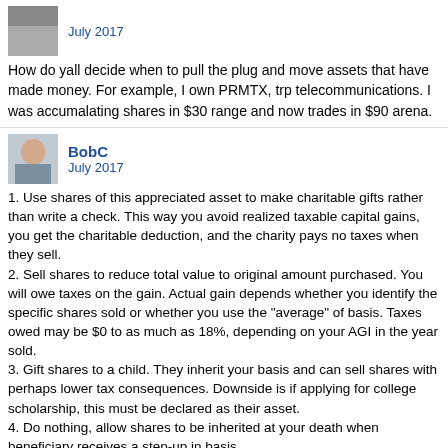July 2017
How do yall decide when to pull the plug and move assets that have made money. For example, I own PRMTX, trp telecommunications. I was accumalating shares in $30 range and now trades in $90 arena.
BobC
July 2017
1. Use shares of this appreciated asset to make charitable gifts rather than write a check. This way you avoid realized taxable capital gains, you get the charitable deduction, and the charity pays no taxes when they sell.
2. Sell shares to reduce total value to original amount purchased. You will owe taxes on the gain. Actual gain depends whether you identify the specific shares sold or whether you use the "average" of basis. Taxes owed may be $0 to as much as 18%, depending on your AGI in the year sold.
3. Gift shares to a child. They inherit your basis and can sell shares with perhaps lower tax consequences. Downside is if applying for college scholarship, this must be declared as their asset.
4. Do nothing, allow shares to be inherited at your death when beneficiary receives a step-up in basis.
5. Do nothing, watch gain disappear during a bear market, then you can sell with no tax consequences (not such a great idea, but a lot of people get so hung up on taxes, they default to this).